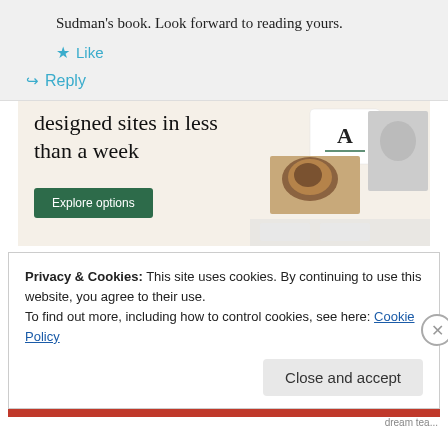Sudman's book. Look forward to reading yours.
★ Like
↪ Reply
[Figure (illustration): Advertisement banner with beige background showing 'designed sites in less than a week' text, a green 'Explore options' button, and mockup screenshots of websites on the right side.]
Privacy & Cookies: This site uses cookies. By continuing to use this website, you agree to their use. To find out more, including how to control cookies, see here: Cookie Policy
Close and accept